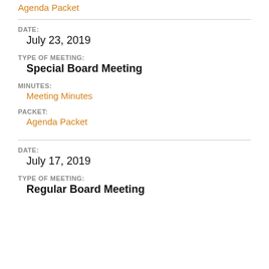Agenda Packet
DATE:
July 23, 2019
TYPE OF MEETING:
Special Board Meeting
MINUTES:
Meeting Minutes
PACKET:
Agenda Packet
DATE:
July 17, 2019
TYPE OF MEETING:
Regular Board Meeting